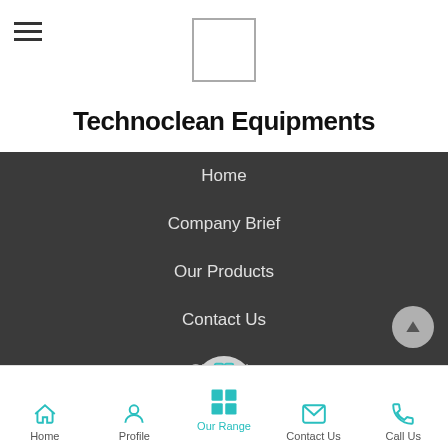[Figure (logo): Company logo placeholder box (white rectangle with border)]
Technoclean Equipments
Home
Company Brief
Our Products
Contact Us
Share via
© Technoclean Equipments
Home | Profile | Our Range | Contact Us | Call Us